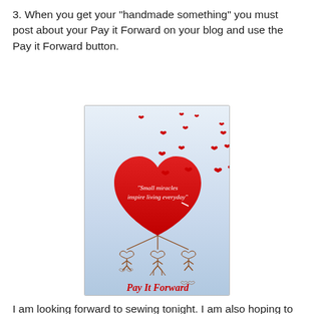3. When you get your "handmade something" you must post about your Pay it Forward on your blog and use the Pay it Forward button.
[Figure (illustration): Pay It Forward button image: a large red heart with many small hearts floating above it, text 'Small miracles inspire living everyday' on the heart, and below are stick figures with hearts connected by lines, with text 'Pay It Forward' at the bottom, on a light blue/white gradient background.]
I am looking forward to sewing tonight. I am also hoping to